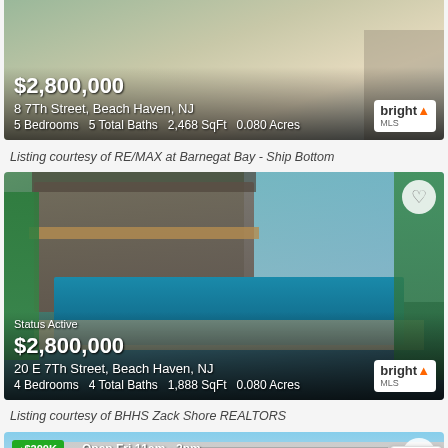[Figure (photo): Aerial/top-down view of a beach house property at 8 7Th Street, Beach Haven, NJ. White house with driveway visible. Price $2,800,000 overlaid. Bright MLS logo in corner.]
Listing courtesy of RE/MAX at Barnegat Bay - Ship Bottom
[Figure (photo): Exterior photo of 20 E 7Th Street, Beach Haven, NJ showing a multi-story stone and wood house with a large pool and patio area. Lush landscaping. Status Active. Price $2,800,000. Bright MLS logo.]
Listing courtesy of BHHS Zack Shore REALTORS
[Figure (photo): Partial view of a third property listing. Green badge shows price drop of $200K. Open house text: Open Fri 11am - 2pm. House exterior with blue sky visible. Heart favorite button and scroll-to-top button visible.]